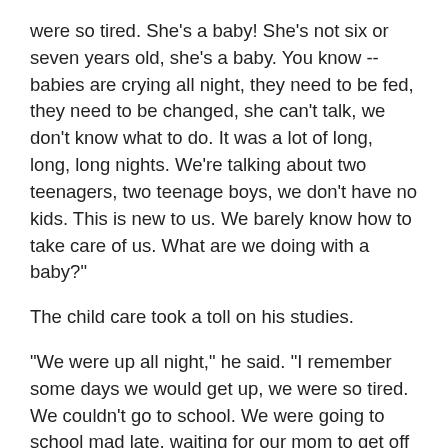were so tired. She's a baby! She's not six or seven years old, she's a baby. You know -- babies are crying all night, they need to be fed, they need to be changed, she can't talk, we don't know what to do. It was a lot of long, long, long nights. We're talking about two teenagers, two teenage boys, we don't have no kids. This is new to us. We barely know how to take care of us. What are we doing with a baby?"
The child care took a toll on his studies.
"We were up all night," he said. "I remember some days we would get up, we were so tired. We couldn't go to school. We were going to school mad late, waiting for our mom to get off [work]. You can't leave the baby by herself. Not going to school sometimes, or get there real late. You get to school, you're tired."